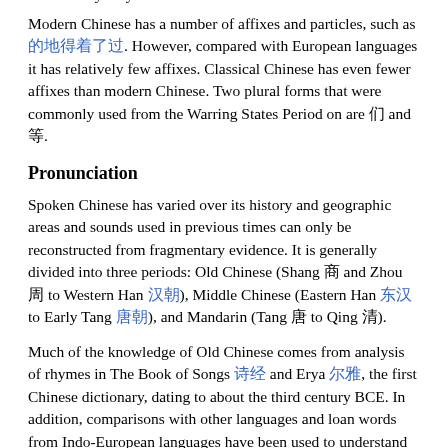(person / people) when reduplicated 人人 means everybody.
Modern Chinese has a number of affixes and particles, such as 的地得着了过. However, compared with European languages it has relatively few affixes. Classical Chinese has even fewer affixes than modern Chinese. Two plural forms that were commonly used from the Warring States Period on are 们 and 等.
Pronunciation
Spoken Chinese has varied over its history and geographic areas and sounds used in previous times can only be reconstructed from fragmentary evidence. It is generally divided into three periods: Old Chinese (Shang 商 and Zhou 周 to Western Han 汉朝), Middle Chinese (Eastern Han 东汉 to Early Tang 唐朝), and Mandarin (Tang 唐 to Qing 清).
Much of the knowledge of Old Chinese comes from analysis of rhymes in The Book of Songs 诗经 and Erya 尔雅, the first Chinese dictionary, dating to about the third century BCE. In addition, comparisons with other languages and loan words from Indo-European languages have been used to understand pronunciation of Old Chinese. In addition, many radicals are related to the pronunciation of characters. Also, the